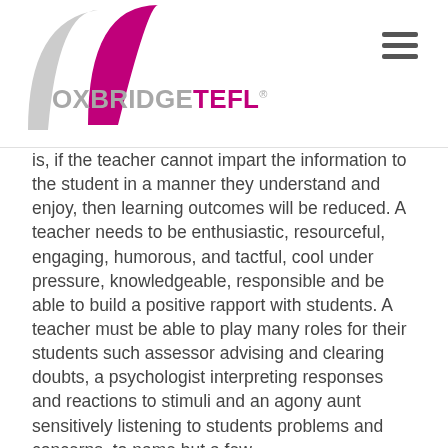OXBRIDGETEFL
is, if the teacher cannot impart the information to the student in a manner they understand and enjoy, then learning outcomes will be reduced. A teacher needs to be enthusiastic, resourceful, engaging, humorous, and tactful, cool under pressure, knowledgeable, responsible and be able to build a positive rapport with students. A teacher must be able to play many roles for their students such assessor advising and clearing doubts, a psychologist interpreting responses and reactions to stimuli and an agony aunt sensitively listening to students problems and concerns, to name but a few.
Interaction with students is an essential part in assisting them to learn, so classes need to be involving and fun. A teacher should make an effort to ensure that they learn their student's names and use them in class as will help engage the student and build rapport. The teacher must be aware of their body language and tone of voice, when managing a classroom it is much more effective to